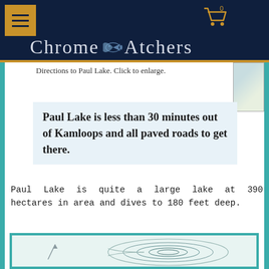Chrome Catchers
Directions to Paul Lake. Click to enlarge.
Paul Lake is less than 30 minutes out of Kamloops and all paved roads to get there.
Paul Lake is quite a large lake at 390 hectares in area and dives to 180 feet deep.
[Figure (map): Bathymetric map / depth contour chart of Paul Lake]